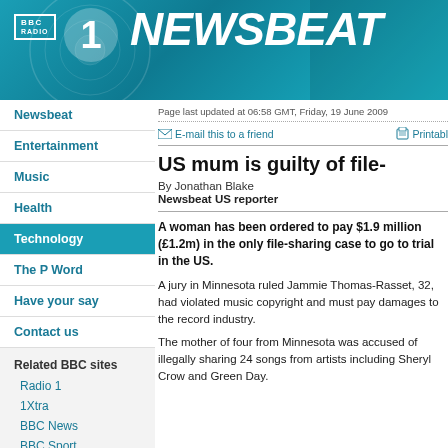[Figure (screenshot): BBC Radio 1 Newsbeat header banner with teal/cyan gradient background, BBC Radio 1 logo on left, and NEWSBEAT text in large italicized white letters]
Newsbeat
Entertainment
Music
Health
Technology
The P Word
Have your say
Contact us
Related BBC sites
Radio 1
1Xtra
BBC News
BBC Sport
Page last updated at 06:58 GMT, Friday, 19 June 2009
E-mail this to a friend   Printable
US mum is guilty of file-
By Jonathan Blake
Newsbeat US reporter
A woman has been ordered to pay $1.9 million (£1.2m) in the only file-sharing case to go to trial in the US.
A jury in Minnesota ruled Jammie Thomas-Rasset, 32, had violated music copyright and must pay damages to the record industry.
The mother of four from Minnesota was accused of illegally sharing 24 songs from artists including Sheryl Crow and Green Day.